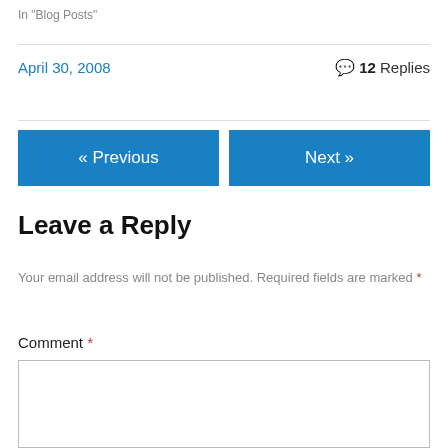In "Blog Posts"
April 30, 2008   💬 12 Replies
« Previous
Next »
Leave a Reply
Your email address will not be published. Required fields are marked *
Comment *